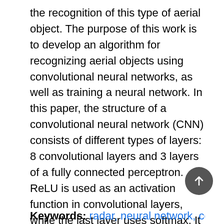the recognition of this type of aerial object. The purpose of this work is to develop an algorithm for recognizing aerial objects using convolutional neural networks, as well as training a neural network. In this paper, the structure of a convolutional neural network (CNN) consists of different types of layers: 8 convolutional layers and 3 layers of a fully connected perceptron. ReLU is used as an activation function in convolutional layers, while the last layer uses softmax. It is necessary to form a data set for training a neural network in order to detect a target. We built a Confusion Matrix of the CNN model to measure the effectiveness of our model. The results showed that the accuracy when testing the model was 95.7%. Classification of echo signals using CNN shows high accuracy and significantly speeds up the process of predicting the target.
Keywords: radar, neural network, convolutional neural